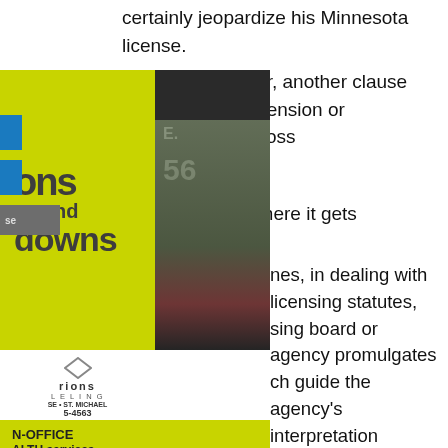certainly jeopardize his Minnesota license.
There is, however, another clause that permits suspension or revocation for "gross [immorality]", and this is where it gets interesting.
[Figure (illustration): Sidebar advertisement overlay showing a green box with 'ups and downs' text, a diamond-shaped counseling logo with contact info, and a yellow-green bar with 'IN-OFFICE HEALTH services' text and a website.]
...mes, in dealing with licensing statutes, ...sing board or agency promulgates ...ch guide the agency's interpretation ...lication of its statutes. In regards to ...ss immorality" clause in Section ...however, there is no such rule that ...efines what that term means. Hence, ...d of Dentistry has a wide amount of ...n which it could exercise to determine ...icipation in an illegal lion hunt 8700 ...ay constitutes "gross immorality,"